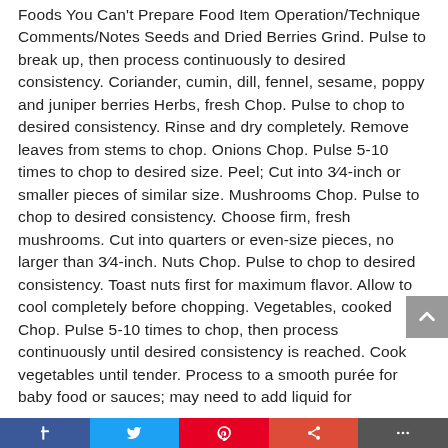Foods You Can't Prepare Food Item Operation/Technique Comments/Notes Seeds and Dried Berries Grind. Pulse to break up, then process continuously to desired consistency. Coriander, cumin, dill, fennel, sesame, poppy and juniper berries Herbs, fresh Chop. Pulse to chop to desired consistency. Rinse and dry completely. Remove leaves from stems to chop. Onions Chop. Pulse 5-10 times to chop to desired size. Peel; Cut into 3/4-inch or smaller pieces of similar size. Mushrooms Chop. Pulse to chop to desired consistency. Choose firm, fresh mushrooms. Cut into quarters or even-size pieces, no larger than 3/4-inch. Nuts Chop. Pulse to chop to desired consistency. Toast nuts first for maximum flavor. Allow to cool completely before chopping. Vegetables, cooked Chop. Pulse 5-10 times to chop, then process continuously until desired consistency is reached. Cook vegetables until tender. Process to a smooth purée for baby food or sauces; may need to add liquid for
social share bar